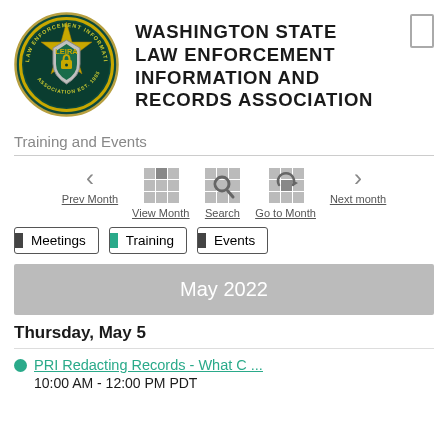[Figure (logo): LEIRA circular badge logo with gold star, green border, shield with lock, text: LAW ENFORCEMENT INFORMATION AND RECORDS ASSOCIATION, EST. 1985]
Washington State Law Enforcement Information and Records Association
Training and Events
[Figure (infographic): Calendar navigation controls: Prev Month (left arrow), View Month (grid icon), Search (magnifier icon), Go to Month (refresh icon), Next month (right arrow)]
Meetings
Training
Events
May 2022
Thursday, May 5
PRI Redacting Records - What C ...
10:00 AM - 12:00 PM PDT